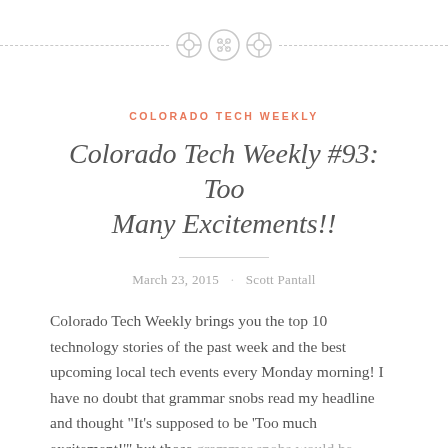[Figure (illustration): Decorative page header with three circular button icons centered on a dashed horizontal line]
COLORADO TECH WEEKLY
Colorado Tech Weekly #93: Too Many Excitements!!
March 23, 2015 · Scott Pantall
Colorado Tech Weekly brings you the top 10 technology stories of the past week and the best upcoming local tech events every Monday morning! I have no doubt that grammar snobs read my headline and thought "It's supposed to be 'Too much excitement!'" but those grammar snobs would be wrong! I'm excited about the Denver…